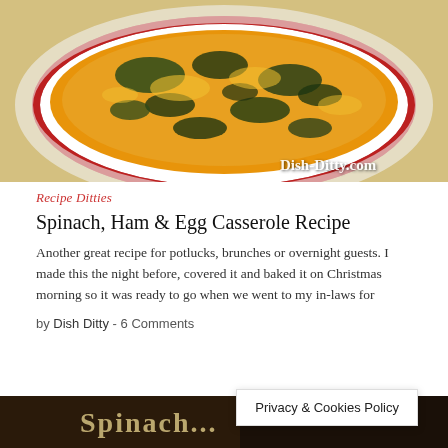[Figure (photo): A baked spinach, ham and egg casserole in a white heart-shaped dish with a red rim, topped with melted cheese, viewed from above on a white surface. Watermark reads Dish-Ditty.com.]
Recipe Ditties
Spinach, Ham & Egg Casserole Recipe
Another great recipe for potlucks, brunches or overnight guests. I made this the night before, covered it and baked it on Christmas morning so it was ready to go when we went to my in-laws for
by Dish Ditty  -  6 Comments
[Figure (photo): Partial view of another recipe photo at the bottom of the page, dark background with partial text visible.]
Privacy & Cookies Policy